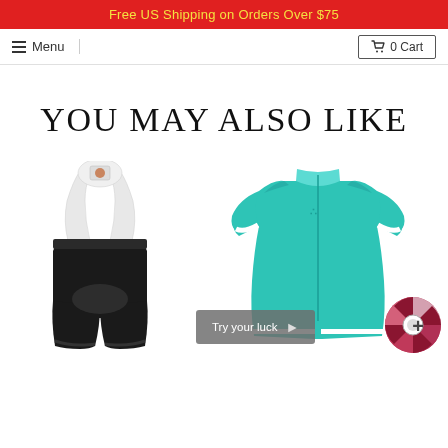Free US Shipping on Orders Over $75
≡ Menu   🛒 0 Cart
YOU MAY ALSO LIKE
[Figure (photo): White and black cycling bib shorts with white straps and a logo on the chest piece]
[Figure (photo): Teal/turquoise women's cycling jersey with white stripe accents and a brand logo]
Try your luck